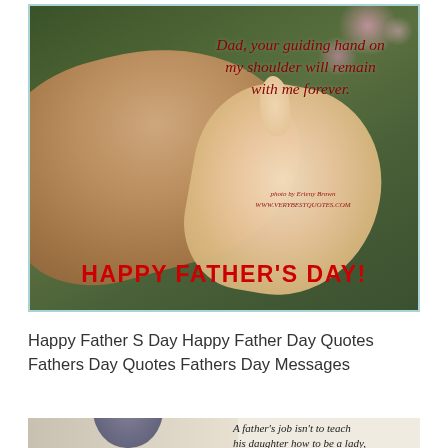[Figure (photo): Close-up photo of an adult hand holding a baby's hand, with pink flowers blurred in the background. Text overlay reads: 'Dad, your guiding hand on my shoulder will remain with me forever.' with photo credit to Erieny Brown and www.verybestquotes.com. Below reads 'HAPPY FATHER'S DAY!' in bold red text.]
Happy Father S Day Happy Father Day Quotes Fathers Day Quotes Fathers Day Messages
[Figure (photo): Partial image showing a child with a woolly hat on the left side, and text on the right reading: 'A father's job isn't to teach his daughter how to be a lady.']